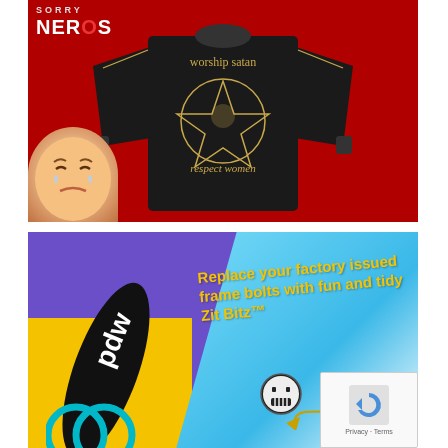[Figure (photo): Black long-sleeve shirt with pentagram graphic and text 'worship satan / respect women' on a red background, with a crying baby in lower left corner. A logo reading 'SORRY NERDS' appears top-left.]
[Figure (photo): Product advertisement on colorful background (purple, yellow, blue). Text reads 'Replace your factory issued frame bolts with fun and tidy Zit Bitz™'. Shows PDW branded tool/skateboard-like object with a smiley face bolt icon and curl arrow. reCAPTCHA overlay in bottom-right corner with 'Privacy - Terms'.]